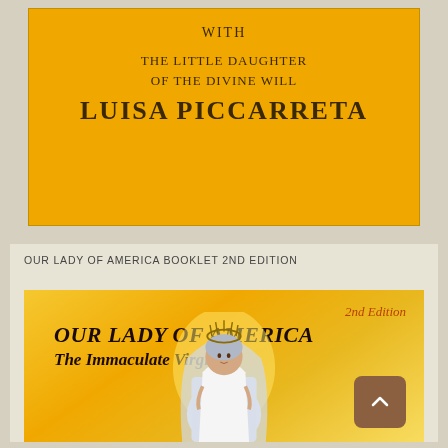WITH
THE LITTLE DAUGHTER
OF THE DIVINE WILL
LUISA PICCARRETA
OUR LADY OF AMERICA BOOKLET 2ND EDITION
[Figure (illustration): Book cover illustration showing 'OUR LADY OF AMERICA The Immaculate Virgin' with '2nd Edition' badge, yellow/golden background with figure of the Virgin Mary wearing a crown of wheat/flowers, white veil, and holding items, with a scroll-to-top button in corner]